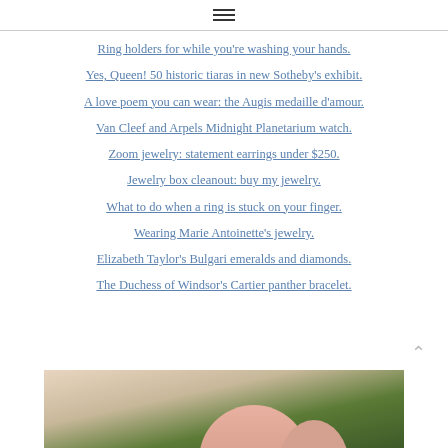≡
Ring holders for while you're washing your hands.
Yes, Queen! 50 historic tiaras in new Sotheby's exhibit.
A love poem you can wear: the Augis medaille d'amour.
Van Cleef and Arpels Midnight Planetarium watch.
Zoom jewelry: statement earrings under $250.
Jewelry box cleanout: buy my jewelry.
What to do when a ring is stuck on your finger.
Wearing Marie Antoinette's jewelry.
Elizabeth Taylor's Bulgari emeralds and diamonds.
The Duchess of Windsor's Cartier panther bracelet.
[Figure (photo): Close-up photo of a hand/finger on green grass background, partially visible at bottom of page]